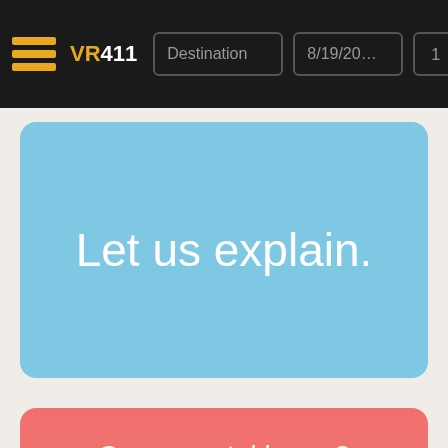VR411 navigation bar with Destination, 8/19/20..., 1 (guests dropdown), SEARCH
Let us explain.
Own a rental home?
OWNERS
Put us to the test.